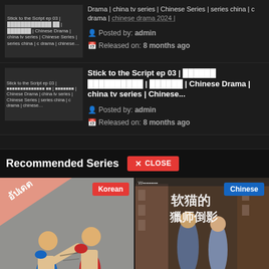[Figure (screenshot): Top card: thumbnail of Stick to the Script ep 03 with corrupted text, posted by admin, released 8 months ago]
Drama | china tv series | Chinese Series | series china | c drama | chinese drama 2024 |
Posted by: admin
Released on: 8 months ago
[Figure (screenshot): Second card: Stick to the Script ep 03 thumbnail with corrupted unicode characters]
Stick to the Script ep 03 | 坚持剧本ep03 | 中文剧 | Chinese Drama | china tv series | Chinese...
Posted by: admin
Released on: 8 months ago
Recommended Series
[Figure (screenshot): Close button with X CLOSE label in red]
[Figure (illustration): Boxing/martial arts illustration with Korean badge tag, red and white comic style artwork]
[Figure (photo): Chinese drama show poster with two actors on a street, Chinese characters title, Chinese badge tag]